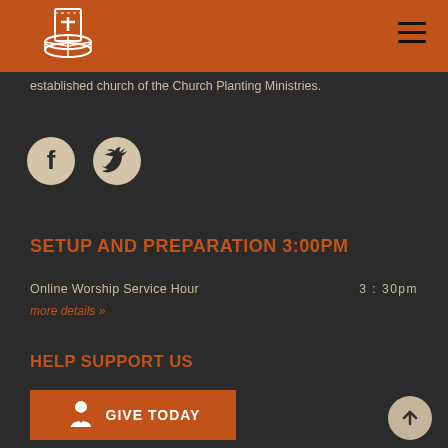[Figure (logo): Church lighthouse logo with cross on orange header bar]
established church of the Church Planting Ministries.
[Figure (illustration): Facebook and Twitter social media icons in white/cream circles on dark background]
SETUP AND PREPARATION 3:00PM
Online Worship Service Hour	3:30pm
more details »
HELP SUPPORT US
[Figure (illustration): Orange Give Today button with person/heart icon]